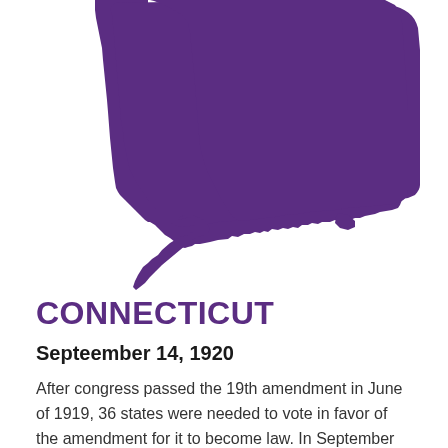[Figure (map): Silhouette map of the state of Connecticut in dark purple color]
CONNECTICUT
Septeember 14, 1920
After congress passed the 19th amendment in June of 1919, 36 states were needed to vote in favor of the amendment for it to become law. In September of 1920 when the representatives of Connecticut were slated to vote on the amendment, the 36 states needed to ratify had